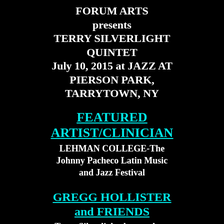FORUM ARTS presents TERRY SILVERLIGHT QUINTET July 10, 2015 at JAZZ AT PIERSON PARK, TARRYTOWN, NY
FEATURED ARTIST/CLINICIAN
LEHMAN COLLEGE-The Johnny Pacheco Latin Music and Jazz Festival
GREGG HOLLISTER and FRIENDS
Terry Silverlight drum solo at 5:07